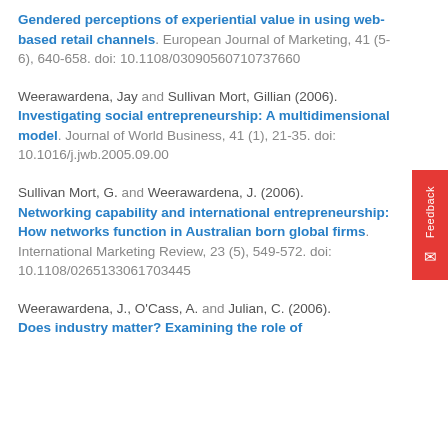Gendered perceptions of experiential value in using web-based retail channels. European Journal of Marketing, 41 (5-6), 640-658. doi: 10.1108/03090560710737660
Weerawardena, Jay and Sullivan Mort, Gillian (2006). Investigating social entrepreneurship: A multidimensional model. Journal of World Business, 41 (1), 21-35. doi: 10.1016/j.jwb.2005.09.00
Sullivan Mort, G. and Weerawardena, J. (2006). Networking capability and international entrepreneurship: How networks function in Australian born global firms. International Marketing Review, 23 (5), 549-572. doi: 10.1108/0265133061703445
Weerawardena, J., O'Cass, A. and Julian, C. (2006). Does industry matter? Examining the role of